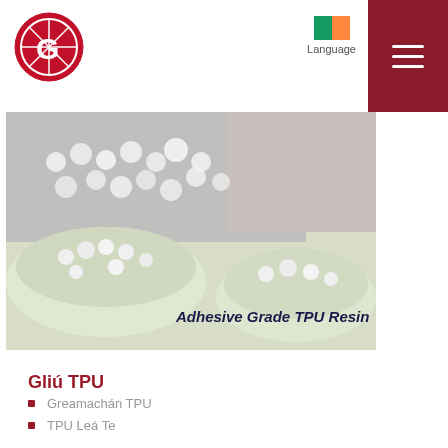[Figure (logo): Circular red logo with G letter]
[Figure (illustration): Irish flag icon with Language label]
[Figure (illustration): Hamburger menu icon on dark red background]
[Figure (photo): Adhesive Grade TPU Resin - white pellets in bowls on green-grey background with person in lab coat]
Gliú TPU
Greamachán TPU
TPU Leá Te
We use cookies to ensure that we give you the best experience on our website. We analyse the relevance between usage information and website content. For further information, please visit our Privacy Policy. You may withdraw your consent at any time.
AGREE